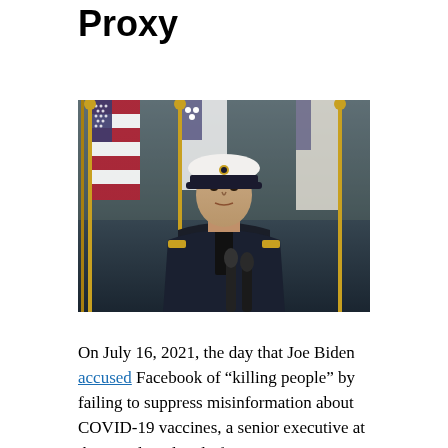Proxy
[Figure (photo): A man in a white naval officer's cap and dark uniform standing at a podium with microphones, with multiple flags (including US flags) visible in the background.]
On July 16, 2021, the day that Joe Biden accused Facebook of “killing people” by failing to suppress misinformation about COVID-19 vaccines, a senior executive at the social media platform’s parent company emailed Surgeon General Vivek Murthy in an effort to assuage